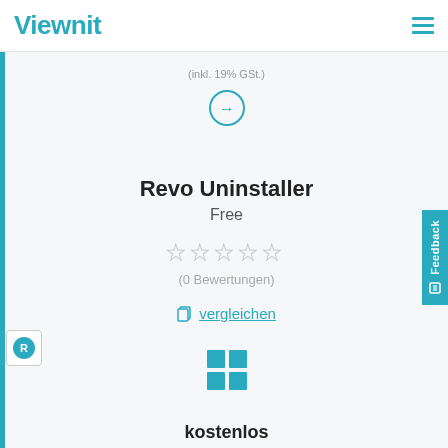Viewnit
(inkl. 19% GSt.)
[Figure (illustration): Circular arrow button (right arrow inside a teal circle outline)]
Revo Uninstaller
Free
[Figure (illustration): Five empty star rating icons in light gray]
(0 Bewertungen)
vergleichen
[Figure (logo): Windows logo (four colored squares)]
kostenlos